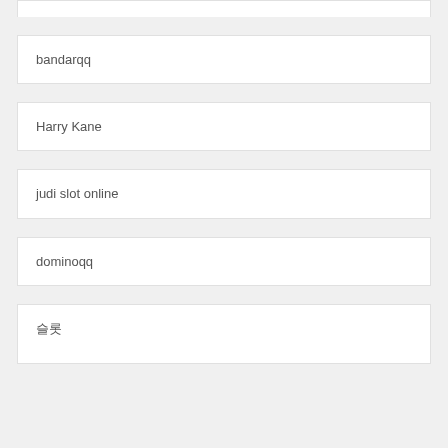bandarqq
Harry Kane
judi slot online
dominoqq
슬롯